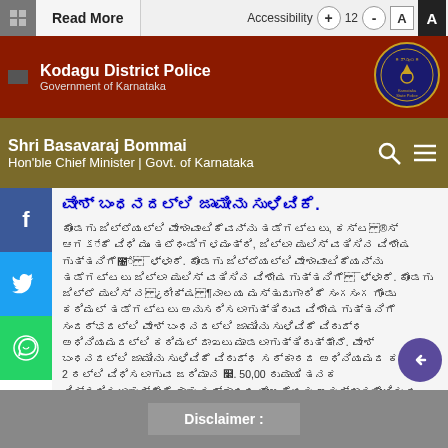Read More | Accessibility + 12 - A A
Kodagu District Police | Government of Karnataka
Shri Basavaraj Bommai | Hon'ble Chief Minister | Govt. of Karnataka
[Kannada script title text]
[Kannada body text with amounts ₹. 2 and ₹. 50,00]
Disclaimer :